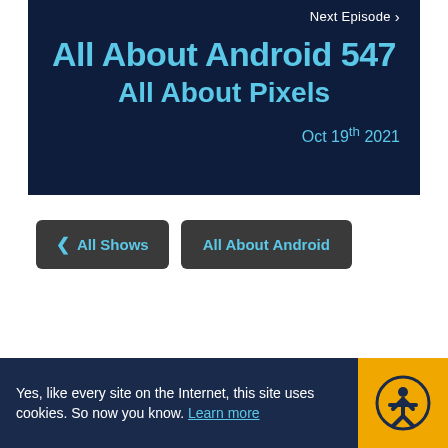Next Episode ›
All About Android 547
All About Pixels
Oct 19th 2021
‹ All Shows
All About Android
Yes, like every site on the Internet, this site uses cookies. So now you know. Learn more